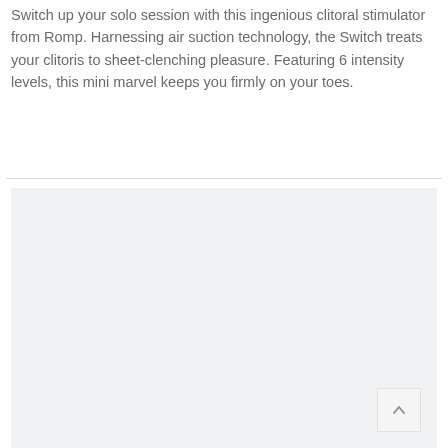Switch up your solo session with this ingenious clitoral stimulator from Romp. Harnessing air suction technology, the Switch treats your clitoris to sheet-clenching pleasure. Featuring 6 intensity levels, this mini marvel keeps you firmly on your toes.
[Figure (other): Light gray rectangular placeholder image area below a horizontal divider line, with a scroll-to-top button (up arrow) in the bottom-right corner.]